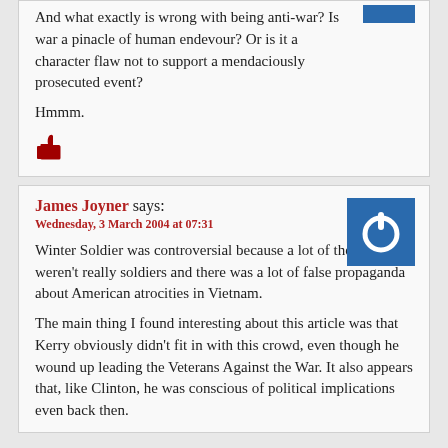And what exactly is wrong with being anti-war? Is war a pinacle of human endevour? Or is it a character flaw not to support a mendaciously prosecuted event?

Hmmm.
[Figure (illustration): Thumbs up icon in dark red/crimson color]
James Joyner says:
Wednesday, 3 March 2004 at 07:31
[Figure (logo): Blue square with white power button symbol]
Winter Soldier was controversial because a lot of the soldiers weren't really soldiers and there was a lot of false propaganda about American atrocities in Vietnam.
The main thing I found interesting about this article was that Kerry obviously didn't fit in with this crowd, even though he wound up leading the Veterans Against the War. It also appears that, like Clinton, he was conscious of political implications even back then.